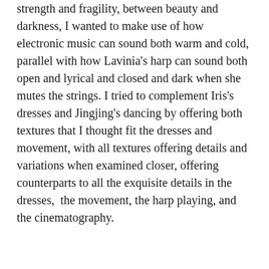strength and fragility, between beauty and darkness, I wanted to make use of how electronic music can sound both warm and cold, parallel with how Lavinia's harp can sound both open and lyrical and closed and dark when she mutes the strings. I tried to complement Iris's dresses and Jingjing's dancing by offering both textures that I thought fit the dresses and movement, with all textures offering details and variations when examined closer, offering counterparts to all the exquisite details in the dresses,  the movement, the harp playing, and the cinematography.